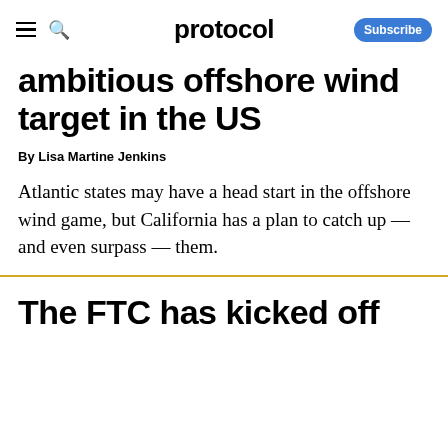protocol
ambitious offshore wind target in the US
By Lisa Martine Jenkins
Atlantic states may have a head start in the offshore wind game, but California has a plan to catch up — and even surpass — them.
The FTC has kicked off